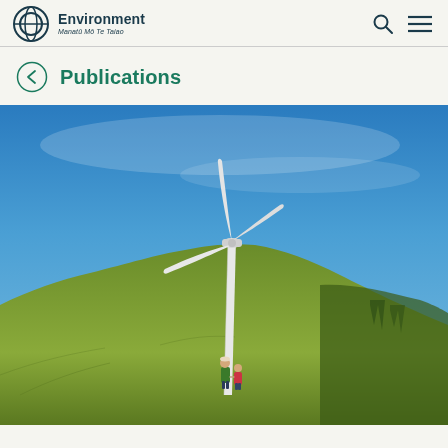Ministry for the Environment / Manatū Mō Te Taiao
Publications
[Figure (photo): A large white wind turbine on a green grassy hillside against a blue sky. Two people — one in a green jacket, one in a pink/red jacket — stand at the base of the turbine on the hill.]